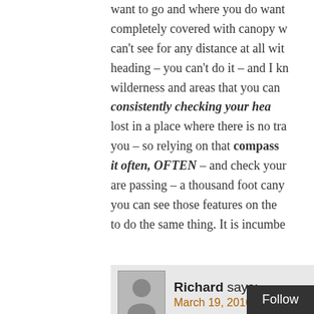want to go and where you do want completely covered with canopy w can't see for any distance at all wit heading – you can't do it – and I kn wilderness and areas that you can consistently checking your head lost in a place where there is no tra you – so relying on that compass it often, OFTEN – and check your are passing – a thousand foot cany you can see those features on the to do the same thing. It is incumbe
Richard says: March 19, 2016 at
Excellent write up Susan. lo